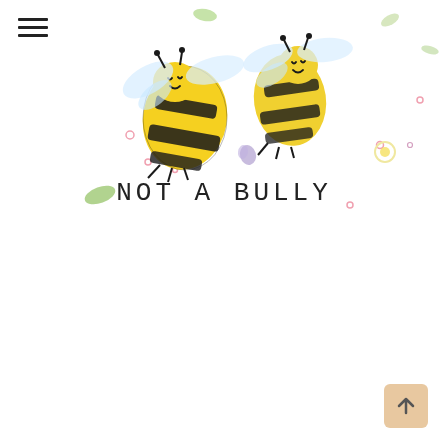[Figure (illustration): Two cute cartoon bumblebees with yellow and black stripes, smiley faces, shown flying. Surrounded by decorative small flowers, leaves, and colorful dots on a white background. Below the bees, hand-lettered text reads 'NOT A BULLY'.]
NOT A BULLY